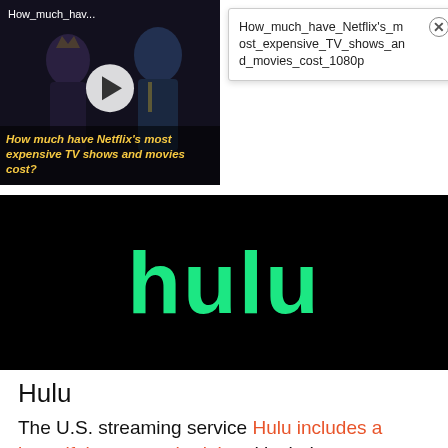[Figure (screenshot): Video thumbnail showing Netflix show 'How much have Netflix's most expensive TV shows and movies cost?' with two people in formal/royal attire and a play button overlay]
How_much_have_Netflix's_most_expensive_TV_shows_and_movies_cost_1080p
[Figure (logo): Hulu logo: white text 'hulu' in green on black background]
Hulu
The U.S. streaming service Hulu includes a beautiful one-month trial and includes a